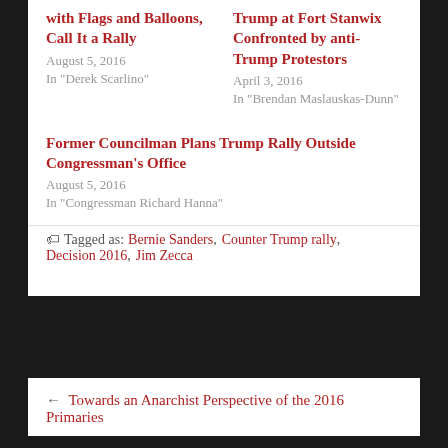with Flags and Balloons, Call It a Rally
August 5, 2016
In "Derek Scarlino"
Trump at Fort Stanwix Confronted by anti-Trump Protestors
April 3, 2016
In "Brendan Maslauskas-Dunn"
Former Councilman Plans Trump Rally Outside Congressman's Office
August 5, 2016
In "Congressman Richard Hanna"
Tagged as: Bernie Sanders, Counter Trump rally, Decision 2016, Jim Zecca
← Towards an Anarchist Perspective of the 2016 Primaries